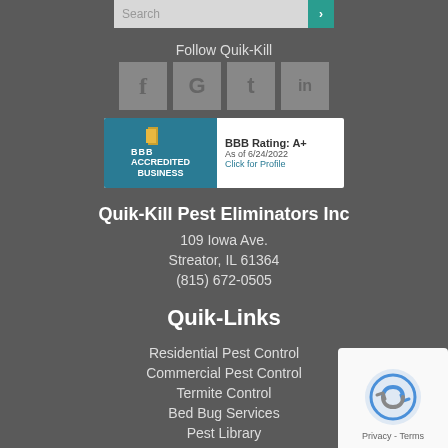[Figure (screenshot): Search bar with teal search button]
Follow Quik-Kill
[Figure (infographic): Social media icons: Facebook (f), Google (G), Twitter (t), LinkedIn (in) on gray square backgrounds]
[Figure (logo): BBB Accredited Business badge with BBB Rating: A+ As of 6/24/2022 Click for Profile]
Quik-Kill Pest Eliminators Inc
109 Iowa Ave.
Streator, IL 61364
(815) 672-0505
Quik-Links
Residential Pest Control
Commercial Pest Control
Termite Control
Bed Bug Services
Pest Library
Blog
Free Inspection
[Figure (logo): reCAPTCHA badge with Privacy - Terms text]